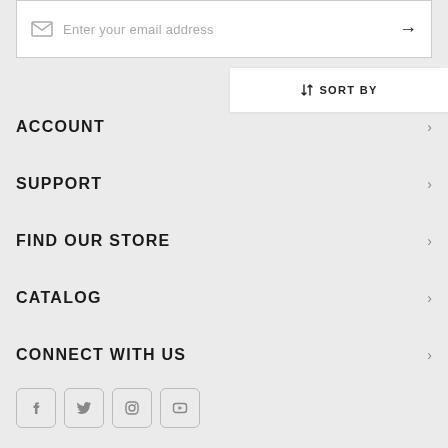Enter your email address
↕ SORT BY
ACCOUNT
SUPPORT
FIND OUR STORE
CATALOG
CONNECT WITH US
[Figure (illustration): Social media icon buttons for Facebook, Twitter, Instagram, YouTube]